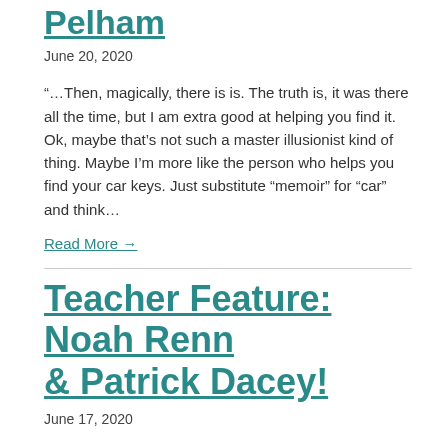Pelham
June 20, 2020
“…Then, magically, there is is. The truth is, it was there all the time, but I am extra good at helping you find it. Ok, maybe that’s not such a master illusionist kind of thing. Maybe I’m more like the person who helps you find your car keys. Just substitute “memoir” for “car” and think…
Read More →
Teacher Feature: Noah Renn & Patrick Dacey!
June 17, 2020
Take Noah’s Class: The Poetry Workshop: Monday Nights. Noah Renn received an MFA from Old Dominion University 2011. His